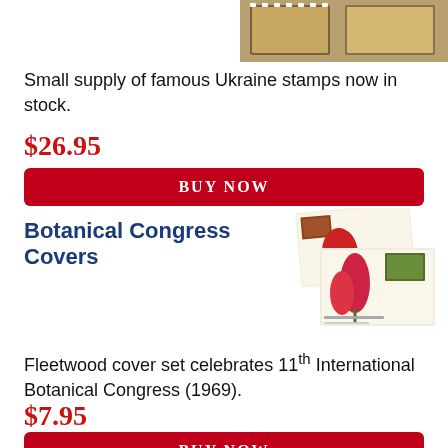[Figure (photo): Partial image of Ukraine stamps at the top of the page]
Small supply of famous Ukraine stamps now in stock.
$26.95
BUY NOW
Botanical Congress Covers
[Figure (photo): Two Fleetwood first day covers featuring botanical stamps from the 11th International Botanical Congress (1969)]
Fleetwood cover set celebrates 11th International Botanical Congress (1969).
$7.95
BUY NOW